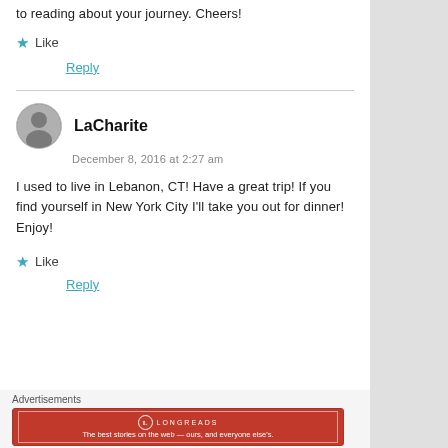though. Sounds really interesting. Look forward to reading about your journey. Cheers!
Like
Reply
LaCharite
December 8, 2016 at 2:27 am
I used to live in Lebanon, CT! Have a great trip! If you find yourself in New York City I'll take you out for dinner! Enjoy!
Like
Reply
Advertisements
[Figure (logo): Longreads advertisement banner: red background with Longreads logo and tagline 'The best stories on the web — ours, and everyone else's.']